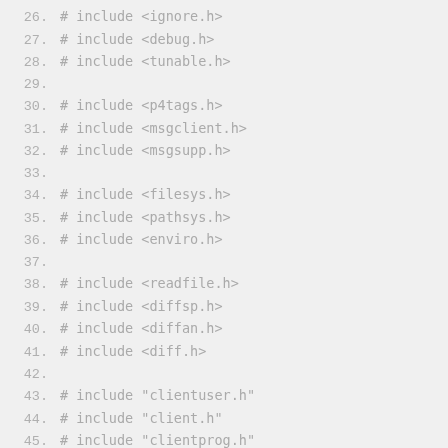26.    # include <ignore.h>
27.    # include <debug.h>
28.    # include <tunable.h>
29.
30.    # include <p4tags.h>
31.    # include <msgclient.h>
32.    # include <msgsupp.h>
33.
34.    # include <filesys.h>
35.    # include <pathsys.h>
36.    # include <enviro.h>
37.
38.    # include <readfile.h>
39.    # include <diffsp.h>
40.    # include <diffan.h>
41.    # include <diff.h>
42.
43.    # include "clientuser.h"
44.    # include "client.h"
45.    # include "clientprog.h"
46.
47.    # include "clientservice.h"
48.
49.    /*
50.     * ReconcileHandle - handle reconcile's